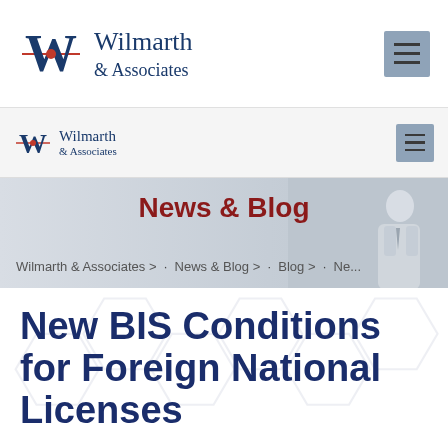[Figure (logo): Wilmarth & Associates logo with large W emblem and company name]
[Figure (logo): Wilmarth & Associates smaller logo in secondary navigation bar]
News & Blog
Wilmarth & Associates > · News & Blog > · Blog > · Ne...
New BIS Conditions for Foreign National Licenses